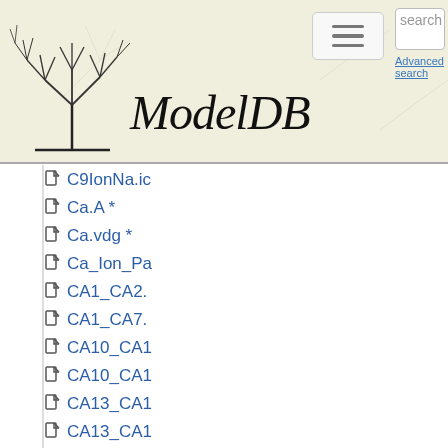ModelDB
C9IonNa.ic
Ca.A *
Ca.vdg *
Ca_Ion_Pa
CA1_CA2.
CA1_CA7.
CA10_CA1
CA10_CA1
CA13_CA1
CA13_CA1
CA14_CA1
CA14_CA1
CA17_CA1
CA17_CA1
CA19_CA2